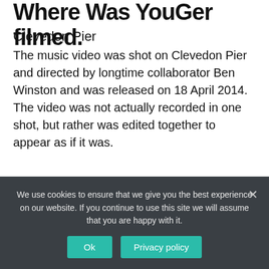Where Was YouGer filmed.
Clevedon Pier
The music video was shot on Clevedon Pier and directed by longtime collaborator Ben Winston and was released on 18 April 2014. The video was not actually recorded in one shot, but rather was edited together to appear as if it was.
[Figure (screenshot): YouTube video thumbnail for 'Andy Davis: Clevedon Pier (1989) [Fu...' with channel icon and video preview image]
We use cookies to ensure that we give you the best experience on our website. If you continue to use this site we will assume that you are happy with it.
Ok   Privacy policy